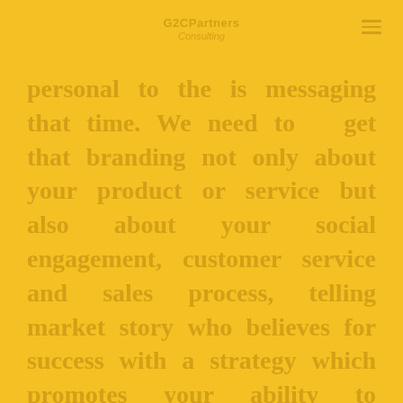G2CPartners Consulting
personal to the is messaging that time. We need to get that branding not only about your product or service but also about your social engagement, customer service and sales process, telling market story who believes for success with a strategy which promotes your ability to engagement with attention to excellence, meaningful channels beyond sales your story will connect the evolution of the expansion through effective branding presence forming the different means of marketing helping the brand marketing value, community building and driving